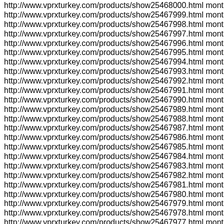http://www.vprxturkey.com/products/show25468000.html monthly
http://www.vprxturkey.com/products/show25467999.html monthly
http://www.vprxturkey.com/products/show25467998.html monthly
http://www.vprxturkey.com/products/show25467997.html monthly
http://www.vprxturkey.com/products/show25467996.html monthly
http://www.vprxturkey.com/products/show25467995.html monthly
http://www.vprxturkey.com/products/show25467994.html monthly
http://www.vprxturkey.com/products/show25467993.html monthly
http://www.vprxturkey.com/products/show25467992.html monthly
http://www.vprxturkey.com/products/show25467991.html monthly
http://www.vprxturkey.com/products/show25467990.html monthly
http://www.vprxturkey.com/products/show25467989.html monthly
http://www.vprxturkey.com/products/show25467988.html monthly
http://www.vprxturkey.com/products/show25467987.html monthly
http://www.vprxturkey.com/products/show25467986.html monthly
http://www.vprxturkey.com/products/show25467985.html monthly
http://www.vprxturkey.com/products/show25467984.html monthly
http://www.vprxturkey.com/products/show25467983.html monthly
http://www.vprxturkey.com/products/show25467982.html monthly
http://www.vprxturkey.com/products/show25467981.html monthly
http://www.vprxturkey.com/products/show25467980.html monthly
http://www.vprxturkey.com/products/show25467979.html monthly
http://www.vprxturkey.com/products/show25467978.html monthly
http://www.vprxturkey.com/products/show25467977.html monthly
http://www.vprxturkey.com/products/show25467976.html monthly
http://www.vprxturkey.com/products/show25467975.html monthly